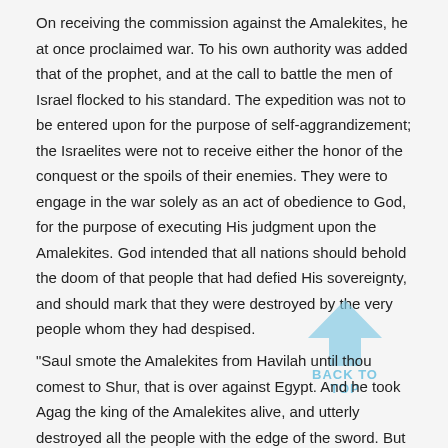On receiving the commission against the Amalekites, he at once proclaimed war. To his own authority was added that of the prophet, and at the call to battle the men of Israel flocked to his standard. The expedition was not to be entered upon for the purpose of self-aggrandizement; the Israelites were not to receive either the honor of the conquest or the spoils of their enemies. They were to engage in the war solely as an act of obedience to God, for the purpose of executing His judgment upon the Amalekites. God intended that all nations should behold the doom of that people that had defied His sovereignty, and should mark that they were destroyed by the very people whom they had despised.
[Figure (other): Back to Top arrow icon with text 'BACK TO TOP' in light blue]
"Saul smote the Amalekites from Havilah until thou comest to Shur, that is over against Egypt. And he took Agag the king of the Amalekites alive, and utterly destroyed all the people with the edge of the sword. But Saul and the people spared Agag, and the best of the sheep, and of the oxen, and of the fatlings, and the lambs, and all that was good, and would not